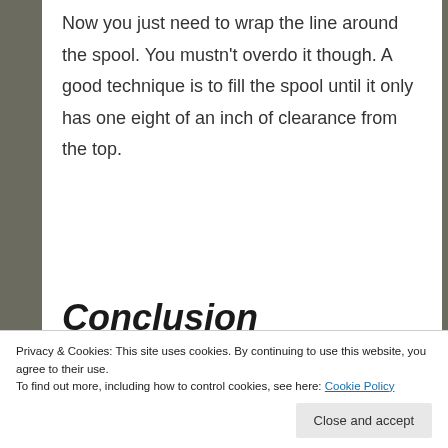Now you just need to wrap the line around the spool. You mustn't overdo it though. A good technique is to fill the spool until it only has one eight of an inch of clearance from the top.
Conclusion
There are many other ways to spool a
Privacy & Cookies: This site uses cookies. By continuing to use this website, you agree to their use.
To find out more, including how to control cookies, see here: Cookie Policy